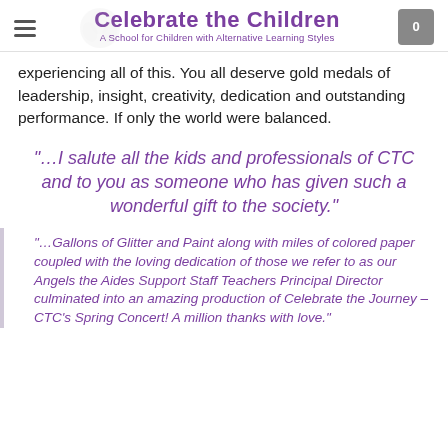Celebrate the Children — A School for Children with Alternative Learning Styles
experiencing all of this. You all deserve gold medals of leadership, insight, creativity, dedication and outstanding performance. If only the world were balanced.
"…I salute all the kids and professionals of CTC and to you as someone who has given such a wonderful gift to the society."
"…Gallons of Glitter and Paint along with miles of colored paper coupled with the loving dedication of those we refer to as our Angels the Aides Support Staff Teachers Principal Director culminated into an amazing production of Celebrate the Journey – CTC's Spring Concert! A million thanks with love."